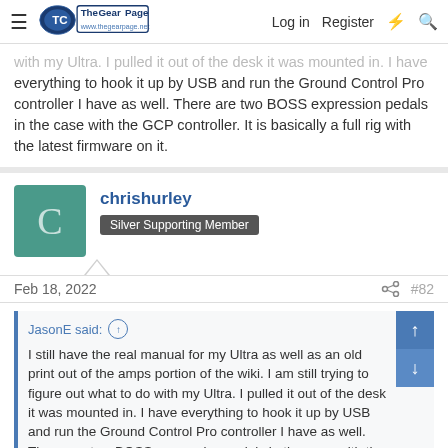The Gear Page — Log in | Register
with my Ultra. I pulled it out of the desk it was mounted in. I have everything to hook it up by USB and run the Ground Control Pro controller I have as well. There are two BOSS expression pedals in the case with the GCP controller. It is basically a full rig with the latest firmware on it.
chrishurley — Silver Supporting Member
Feb 18, 2022  #82
JasonE said: ↑ I still have the real manual for my Ultra as well as an old print out of the amps portion of the wiki. I am still trying to figure out what to do with my Ultra. I pulled it out of the desk it was mounted in. I have everything to hook it up by USB and run the Ground Control Pro controller I have as well. There are two BOSS expression pedals in the case with the GCP controller. It is basically a full rig with the latest firmware on it.